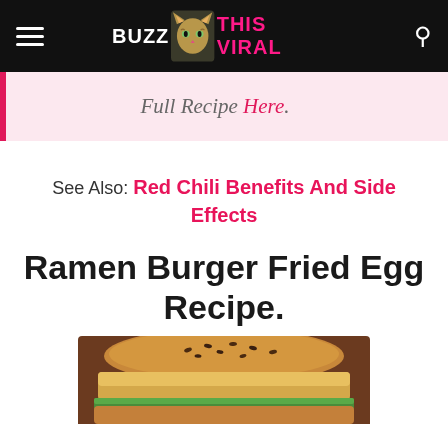BUZZ THIS VIRAL
Full Recipe Here.
See Also: Red Chili Benefits And Side Effects
Ramen Burger Fried Egg Recipe.
[Figure (photo): Close-up photo of a Ramen Burger Fried Egg, showing a grilled ramen noodle bun with sesame seeds and a fried egg patty, with lettuce visible.]